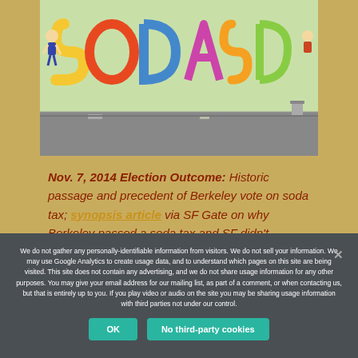[Figure (photo): Graffiti mural on a wall with colorful large graffiti letters on a light green/yellow background, pedestrian sidewalk in front]
Nov. 7, 2014 Election Outcome: Historic passage and precedent of Berkeley vote on soda tax; synopsis article via SF Gate on why Berkeley passed a soda tax and SF didn't.
We do not gather any personally-identifiable information from visitors. We do not sell your information. We may use Google Analytics to create usage data, and to understand which pages on this site are being visited. This site does not contain any advertising, and we do not share usage information for any other purposes. You may give your email address for our mailing list, as part of a comment, or when contacting us, but that is entirely up to you. If you play video or audio on the site you may be sharing usage information with third parties not under our control.